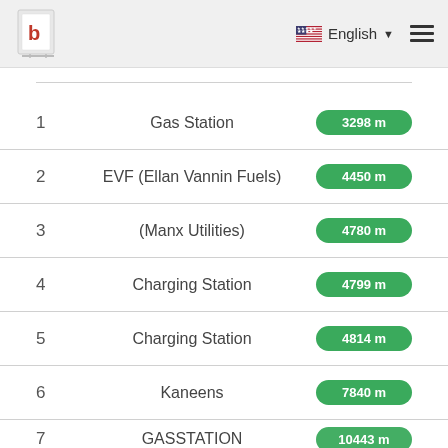English
1  Gas Station  3298 m
2  EVF (Ellan Vannin Fuels)  4450 m
3  (Manx Utilities)  4780 m
4  Charging Station  4799 m
5  Charging Station  4814 m
6  Kaneens  7840 m
7  GASSTATION  10443 m